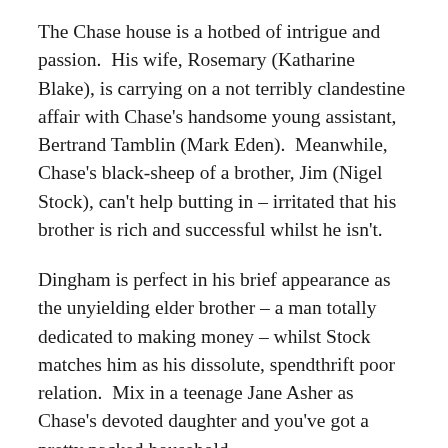The Chase house is a hotbed of intrigue and passion.  His wife, Rosemary (Katharine Blake), is carrying on a not terribly clandestine affair with Chase's handsome young assistant, Bertrand Tamblin (Mark Eden).  Meanwhile, Chase's black-sheep of a brother, Jim (Nigel Stock), can't help butting in – irritated that his brother is rich and successful whilst he isn't.
Dingham is perfect in his brief appearance as the unyielding elder brother – a man totally dedicated to making money – whilst Stock matches him as his dissolute, spendthrift poor relation.  Mix in a teenage Jane Asher as Chase's devoted daughter and you've got a pretty packed household.